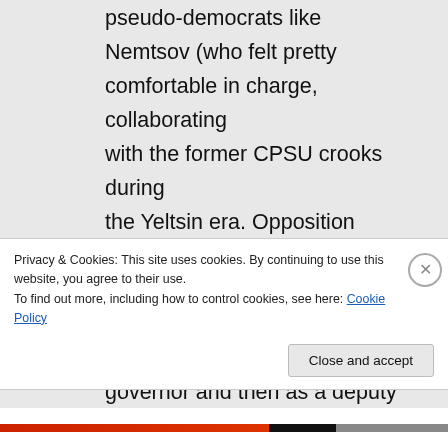pseudo-democrats like Nemtsov (who felt pretty comfortable in charge, collaborating with the former CPSU crooks during the Yeltsin era. Opposition leader, my legs! Da idiot guy managed to earn popular hatred as a regional governor and then as a deputy PM a decade ago) and others of his ilk. By the way, even Soviet-era dissidents preferred independent
Privacy & Cookies: This site uses cookies. By continuing to use this website, you agree to their use.
To find out more, including how to control cookies, see here: Cookie Policy
Close and accept